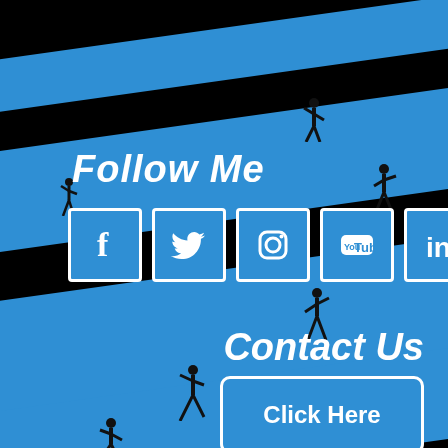Follow Me
[Figure (infographic): Five social media icon buttons: Facebook, Twitter, Instagram, YouTube, LinkedIn — white icons on blue square backgrounds with white borders]
Contact Us
[Figure (infographic): Click Here button — white text on blue rounded rectangle with white border]